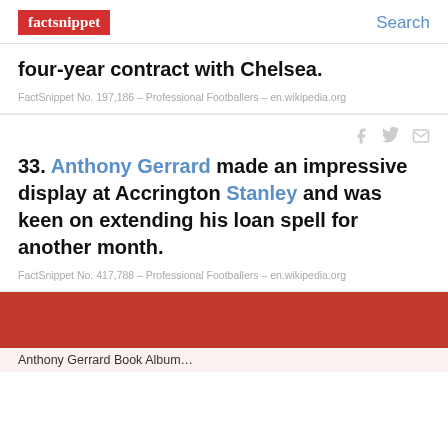factsnippet | Search
four-year contract with Chelsea.
FactSnippet No. 197,186 – Professional Footballers – en.wikipedia.org
33. Anthony Gerrard made an impressive display at Accrington Stanley and was keen on extending his loan spell for another month.
FactSnippet No. 417,788 – Professional Footballers – en.wikipedia.org
[Figure (photo): Bottom card with red background, partial image content visible at bottom of page]